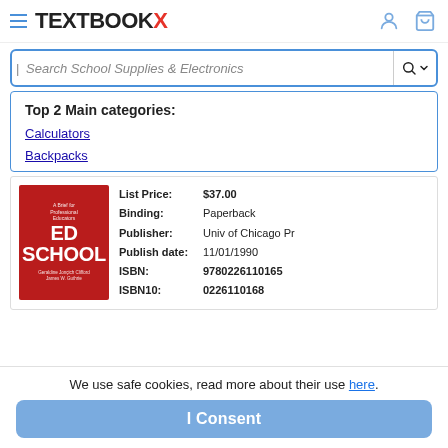TEXTBOOKX
Search School Supplies & Electronics
Top 2 Main categories:
Calculators
Backpacks
| Field | Value |
| --- | --- |
| List Price: | $37.00 |
| Binding: | Paperback |
| Publisher: | Univ of Chicago Pr |
| Publish date: | 11/01/1990 |
| ISBN: | 9780226110165 |
| ISBN10: | 0226110168 |
We use safe cookies, read more about their use here.
I Consent